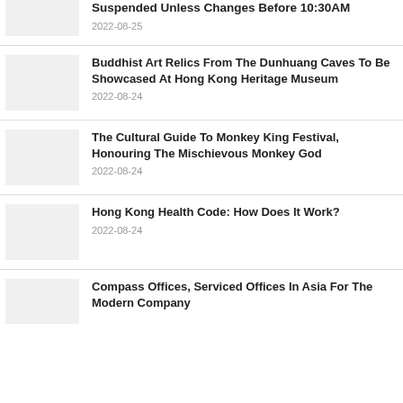Suspended Unless Changes Before 10:30AM
2022-08-25
Buddhist Art Relics From The Dunhuang Caves To Be Showcased At Hong Kong Heritage Museum
2022-08-24
The Cultural Guide To Monkey King Festival, Honouring The Mischievous Monkey God
2022-08-24
Hong Kong Health Code: How Does It Work?
2022-08-24
Compass Offices, Serviced Offices In Asia For The Modern Company